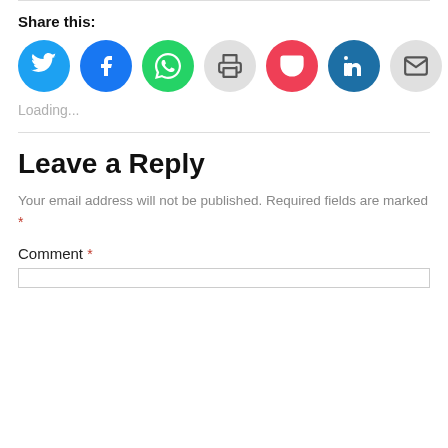Share this:
[Figure (infographic): Row of social sharing icon buttons: Twitter (blue), Facebook (blue), WhatsApp (green), Print (gray), Pocket (red), LinkedIn (dark blue), Email (gray)]
Loading...
Leave a Reply
Your email address will not be published. Required fields are marked *
Comment *